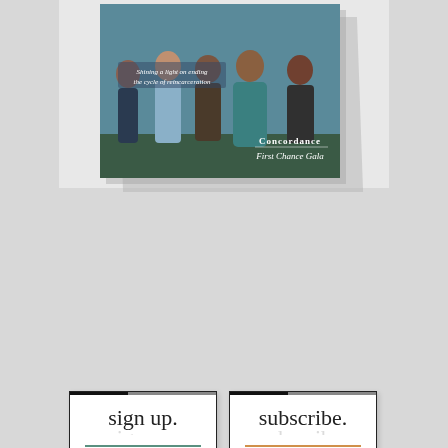[Figure (photo): Magazine cover for Concordance First Chance Gala with group of people and text 'Shining a light on ending the cycle of reincarceration']
[Figure (infographic): Four call-to-action buttons: 'sign up. RECEIVE OUR WEEKLY NEWSLETTER', 'subscribe. HAVE T&S DELIVERED TO YOUR DOOR.', 'submit. WE WANT TO HEAR YOUR IDEAS!', 'advertise. BE SEEN BY OUR LOYAL READERS']